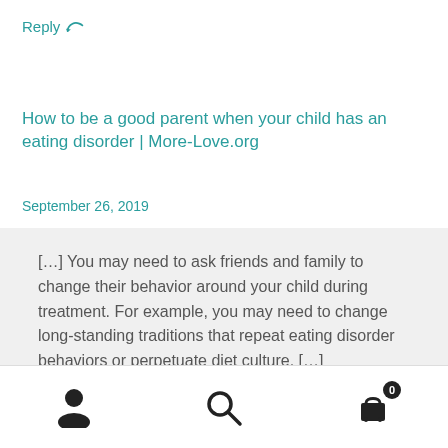Reply ↩
How to be a good parent when your child has an eating disorder | More-Love.org
September 26, 2019
[…] You may need to ask friends and family to change their behavior around your child during treatment. For example, you may need to change long-standing traditions that repeat eating disorder behaviors or perpetuate diet culture. […]
[Figure (other): Bottom navigation bar with user/account icon, search icon, and shopping cart icon with badge showing 0]